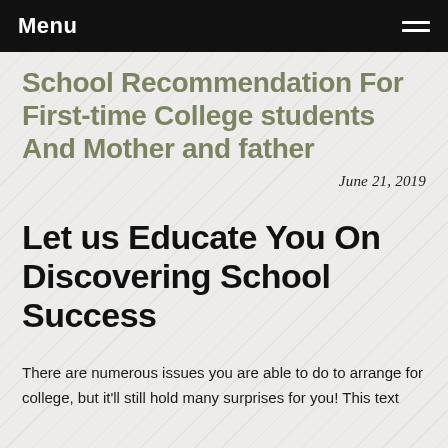Menu
School Recommendation For First-time College students And Mother and father
June 21, 2019
Let us Educate You On Discovering School Success
There are numerous issues you are able to do to arrange for college, but it'll still hold many surprises for you! This text